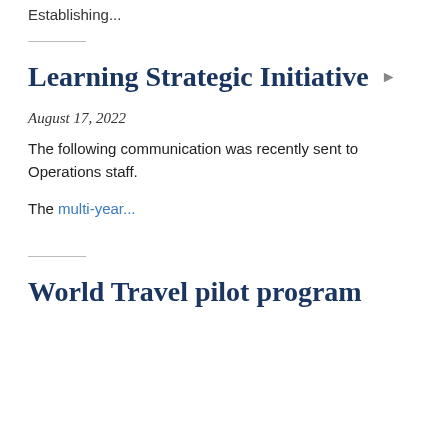Establishing...
Learning Strategic Initiative ▶
August 17, 2022
The following communication was recently sent to Operations staff.
The multi-year...
World Travel pilot program